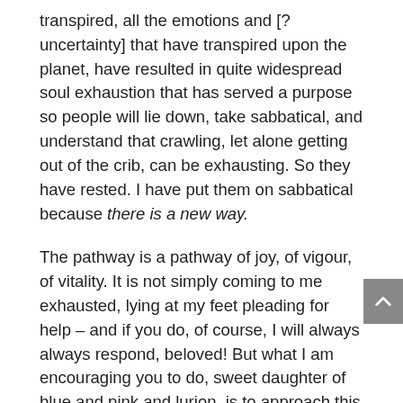transpired, all the emotions and [? uncertainty] that have transpired upon the planet, have resulted in quite widespread soul exhaustion that has served a purpose so people will lie down, take sabbatical, and understand that crawling, let alone getting out of the crib, can be exhausting. So they have rested. I have put them on sabbatical because there is a new way.
The pathway is a pathway of joy, of vigour, of vitality. It is not simply coming to me exhausted, lying at my feet pleading for help – and if you do, of course, I will always always respond, beloved! But what I am encouraging you to do, sweet daughter of blue and pink and lurion, is to approach this fully erect, claiming your divine right, your sovereignty, your authority and your